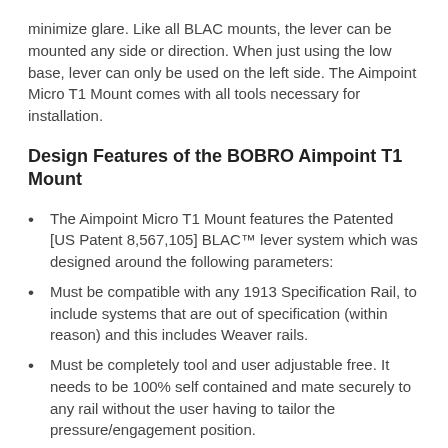minimize glare. Like all BLAC mounts, the lever can be mounted any side or direction. When just using the low base, lever can only be used on the left side. The Aimpoint Micro T1 Mount comes with all tools necessary for installation.
Design Features of the BOBRO Aimpoint T1 Mount
The Aimpoint Micro T1 Mount features the Patented [US Patent 8,567,105] BLAC™ lever system which was designed around the following parameters:
Must be compatible with any 1913 Specification Rail, to include systems that are out of specification (within reason) and this includes Weaver rails.
Must be completely tool and user adjustable free. It needs to be 100% self contained and mate securely to any rail without the user having to tailor the pressure/engagement position.
Must lock with enough pressure to positively attach any device or optical instrument to a rail without movement, static or dynamic forces not withstanding.